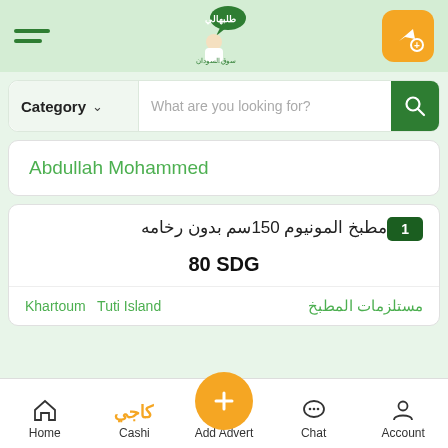[Figure (screenshot): App header with hamburger menu, Alsoug.com logo in center, and orange notification/ad button on right]
Category  What are you looking for?
Abdullah Mohammed
1  مطبخ المونيوم 150سم بدون رخامه
80 SDG
مستلزمات المطبخ   Khartoum  Tuti Island
Home  Cashi  Add Advert  Chat  Account